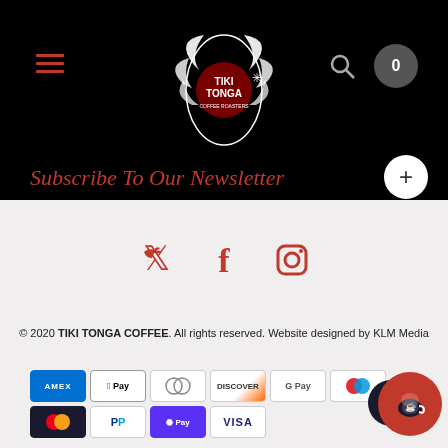[Figure (logo): Tiki Tonga Coffee logo — decorative bird/leaf illustration in white and red on black background]
Subscribe To Our Newsletter
[Figure (infographic): Twitter, Facebook, and Instagram social media icons in red]
© 2020 TIKI TONGA COFFEE. All rights reserved. Website designed by KLM Media
[Figure (infographic): Payment method icons: American Express, Apple Pay, Diners Club, Discover, Google Pay, Maestro, Mastercard, PayPal, Shop Pay, Visa]
[Figure (other): Chat widget button with coffee cup icon reading 'Chat wit...']